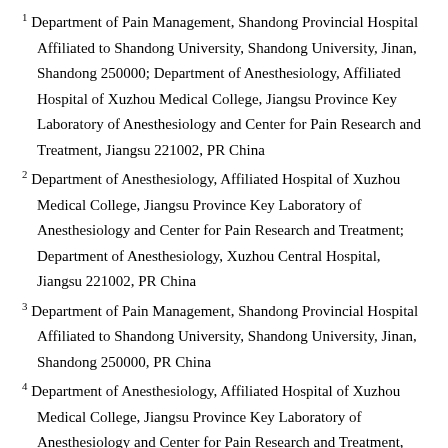1 Department of Pain Management, Shandong Provincial Hospital Affiliated to Shandong University, Shandong University, Jinan, Shandong 250000; Department of Anesthesiology, Affiliated Hospital of Xuzhou Medical College, Jiangsu Province Key Laboratory of Anesthesiology and Center for Pain Research and Treatment, Jiangsu 221002, PR China
2 Department of Anesthesiology, Affiliated Hospital of Xuzhou Medical College, Jiangsu Province Key Laboratory of Anesthesiology and Center for Pain Research and Treatment; Department of Anesthesiology, Xuzhou Central Hospital, Jiangsu 221002, PR China
3 Department of Pain Management, Shandong Provincial Hospital Affiliated to Shandong University, Shandong University, Jinan, Shandong 250000, PR China
4 Department of Anesthesiology, Affiliated Hospital of Xuzhou Medical College, Jiangsu Province Key Laboratory of Anesthesiology and Center for Pain Research and Treatment, Jiangsu 221002, PR China
Correspondence Address:
Zhi-Jian Fu
Department of Pain Management, Shandong Provincial Hospital Affiliated to